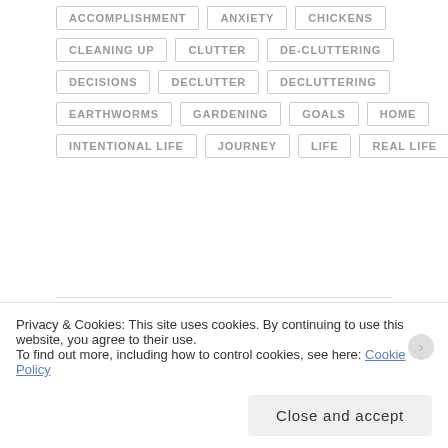ACCOMPLISHMENT
ANXIETY
CHICKENS
CLEANING UP
CLUTTER
DE-CLUTTERING
DECISIONS
DECLUTTER
DECLUTTERING
EARTHWORMS
GARDENING
GOALS
HOME
INTENTIONAL LIFE
JOURNEY
LIFE
REAL LIFE
< HARD TO SAY
TRAVELING TO A
Privacy & Cookies: This site uses cookies. By continuing to use this website, you agree to their use. To find out more, including how to control cookies, see here: Cookie Policy
Close and accept